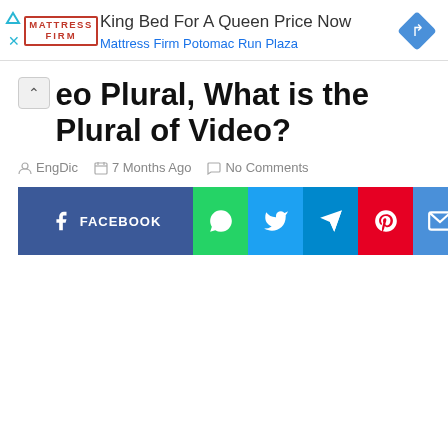[Figure (screenshot): Mattress Firm advertisement banner showing logo, 'King Bed For A Queen Price Now' text, 'Mattress Firm Potomac Run Plaza' subtitle, and a blue diamond navigation icon.]
eo Plural, What is the Plural of Video?
EngDic  7 Months Ago  No Comments
[Figure (infographic): Social media share buttons row: Facebook (dark blue, wide), WhatsApp (green), Twitter (light blue), Telegram (blue), Pinterest (red), Email (blue).]